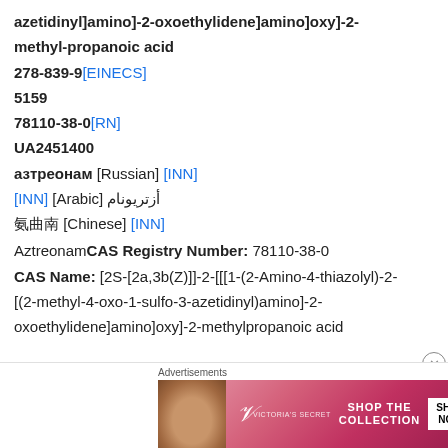azetidinyl]amino]-2-oxoethylidene]amino]oxy]-2-methyl-propanoic acid
278-839-9 [EINECS]
5159
78110-38-0 [RN]
UA2451400
азтреонам [Russian] [INN]
أزتريونام [Arabic] [INN]
氨曲南 [Chinese] [INN]
Aztreonam CAS Registry Number: 78110-38-0
CAS Name: [2S-[2a,3b(Z)]]-2-[[[1-(2-Amino-4-thiazolyl)-2-[(2-methyl-4-oxo-1-sulfo-3-azetidinyl)amino]-2-oxoethylidene]amino]oxy]-2-methylpropanoic acid
[Figure (other): Victoria's Secret advertisement banner with model photo, logo, 'SHOP THE COLLECTION', and 'SHOP NOW' button]